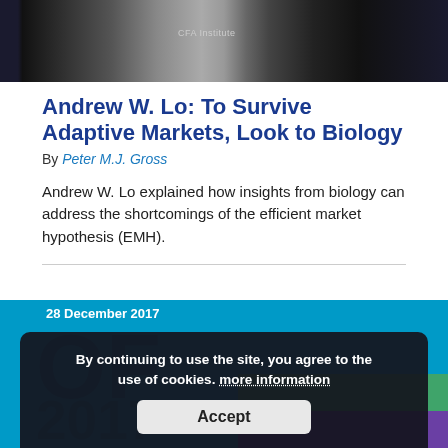[Figure (photo): A dark stage photo showing a CFA Institute event with a speaker podium and the CFA Institute logo visible.]
Andrew W. Lo: To Survive Adaptive Markets, Look to Biology
By Peter M.J. Gross
Andrew W. Lo explained how insights from biology can address the shortcomings of the efficient market hypothesis (EMH).
[Figure (other): Bottom banner showing '28 December 2017' date badge and large 'OF' and '2017' text over colored panel sections in teal, green, and purple.]
By continuing to use the site, you agree to the use of cookies. more information
Accept